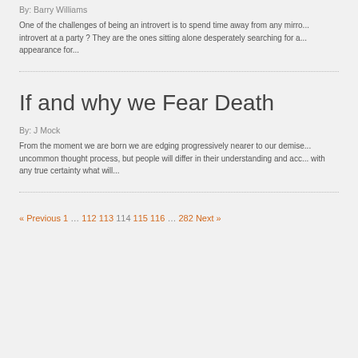By: Barry Williams
One of the challenges of being an introvert is to spend time away from any mirro... introvert at a party ? They are the ones sitting alone desperately searching for a... appearance for...
If and why we Fear Death
By: J Mock
From the moment we are born we are edging progressively nearer to our demise... uncommon thought process, but people will differ in their understanding and acc... with any true certainty what will...
« Previous 1 … 112 113 114 115 116 … 282 Next »